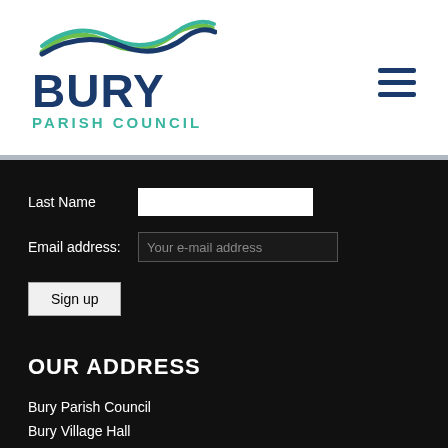[Figure (logo): Bury Parish Council logo with wave graphic, BURY in dark blue bold, PARISH COUNCIL in teal]
[Figure (other): Hamburger menu icon (three horizontal dark blue lines)]
Last Name
Email address: Your e-mail address
Sign up
OUR ADDRESS
Bury Parish Council
Bury Village Hall
The Street...